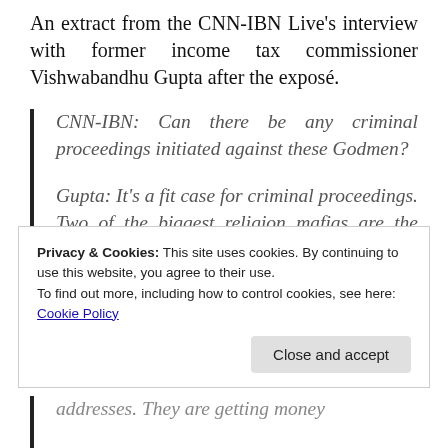An extract from the CNN-IBN Live's interview with former income tax commissioner Vishwabandhu Gupta after the exposé.
CNN-IBN: Can there be any criminal proceedings initiated against these Godmen?
Gupta: It's a fit case for criminal proceedings. Two of the biggest religion mafias are the Ram
Privacy & Cookies: This site uses cookies. By continuing to use this website, you agree to their use.
To find out more, including how to control cookies, see here:
Cookie Policy
Close and accept
addresses. They are getting money